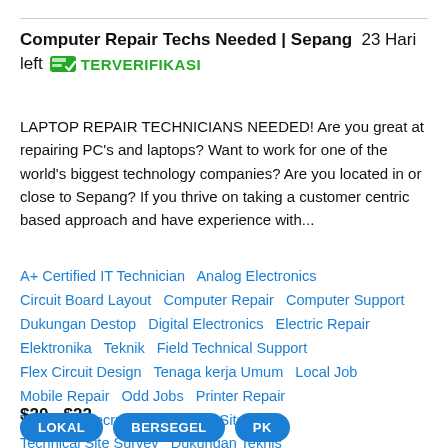Computer Repair Techs Needed | Sepang  23 Hari left  TERVERIFIKASI
LAPTOP REPAIR TECHNICIANS NEEDED! Are you great at repairing PC's and laptops? Want to work for one of the world's biggest technology companies? Are you located in or close to Sepang? If you thrive on taking a customer centric based approach and have experience with...
A+ Certified IT Technician  Analog Electronics  Circuit Board Layout  Computer Repair  Computer Support  Dukungan Destop  Digital Electronics  Electric Repair  Elektronika  Teknik  Field Technical Support  Flex Circuit Design  Tenaga kerja Umum  Local Job  Mobile Repair  Odd Jobs  Printer Repair  Technical Recruiter  Technical Site Audit  Technical Site Survey  Dukungan Teknis  Technical Translation  Penulisan Teknis  Technology  Pemecahan Masalah
$20 - $22